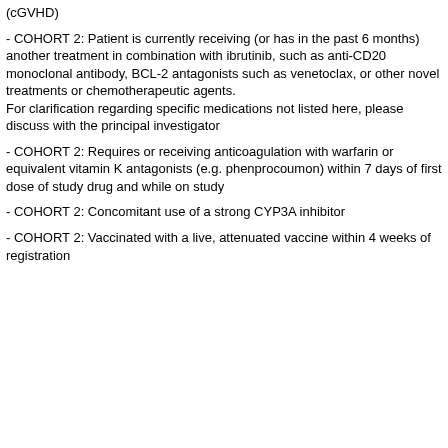(cGVHD)
- COHORT 2: Patient is currently receiving (or has in the past 6 months) another treatment in combination with ibrutinib, such as anti-CD20 monoclonal antibody, BCL-2 antagonists such as venetoclax, or other novel treatments or chemotherapeutic agents. For clarification regarding specific medications not listed here, please discuss with the principal investigator
- COHORT 2: Requires or receiving anticoagulation with warfarin or equivalent vitamin K antagonists (e.g. phenprocoumon) within 7 days of first dose of study drug and while on study
- COHORT 2: Concomitant use of a strong CYP3A inhibitor
- COHORT 2: Vaccinated with a live, attenuated vaccine within 4 weeks of registration